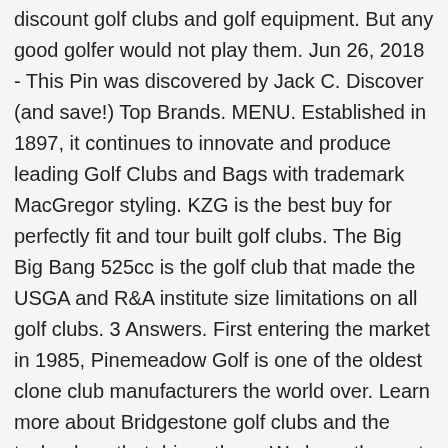discount golf clubs and golf equipment. But any good golfer would not play them. Jun 26, 2018 - This Pin was discovered by Jack C. Discover (and save!) Top Brands. MENU. Established in 1897, it continues to innovate and produce leading Golf Clubs and Bags with trademark MacGregor styling. KZG is the best buy for perfectly fit and tour built golf clubs. The Big Big Bang 525cc is the golf club that made the USGA and R&A institute size limitations on all golf clubs. 3 Answers. First entering the market in 1985, Pinemeadow Golf is one of the oldest clone club manufacturers the world over. Learn more about Bridgestone golf clubs and the technology that drives them. We keep the cost low, and our service is legendary. To make it even more convenient, their online databases have information entries for all of their different club designs. Aspire Junior Plus Complete Golf Club Set for Children, Kids - 5 Age Groups Boys and Girls - Right Hand, Real Girls Junior Golf Bag, Kids Golf Clubs Set. 7 Trident Senator Golf Clubs RH With Aldila VL 100% Graphite Shafts. In fact, hybrid golf clubs have proven to be so beneficial, they're even making their way into the